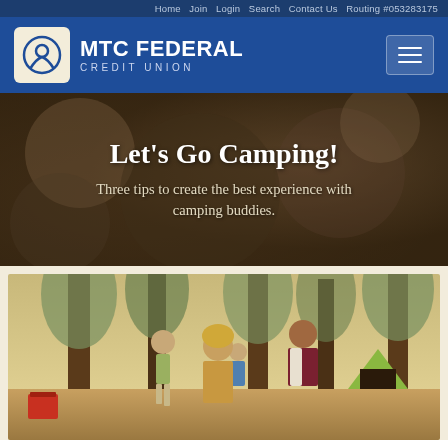Home  Join  Login  Search  Contact Us  Routing #053283175
MTC FEDERAL CREDIT UNION
Let's Go Camping!
Three tips to create the best experience with camping buddies.
[Figure (photo): Group of people camping outdoors among tall trees, smiling and playing, with a green tent visible in the background.]